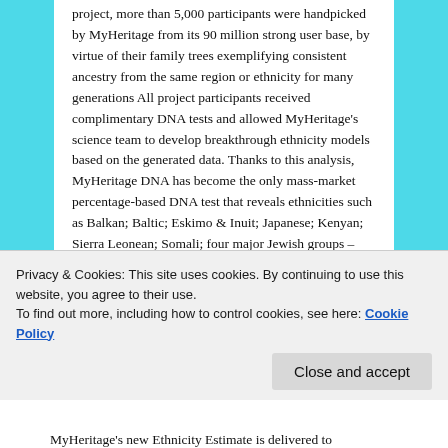project, more than 5,000 participants were handpicked by MyHeritage from its 90 million strong user base, by virtue of their family trees exemplifying consistent ancestry from the same region or ethnicity for many generations All project participants received complimentary DNA tests and allowed MyHeritage's science team to develop breakthrough ethnicity models based on the generated data. Thanks to this analysis, MyHeritage DNA has become the only mass-market percentage-based DNA test that reveals ethnicities such as Balkan; Baltic; Eskimo & Inuit; Japanese; Kenyan; Sierra Leonean; Somali; four major Jewish groups – Ethiopian, Yemenite, Sephardic from North Africa and Mizrahi from Iran and Iraq; Indigenous Amazonian; Papuan and many
Privacy & Cookies: This site uses cookies. By continuing to use this website, you agree to their use. To find out more, including how to control cookies, see here: Cookie Policy
MyHeritage's new Ethnicity Estimate is delivered to